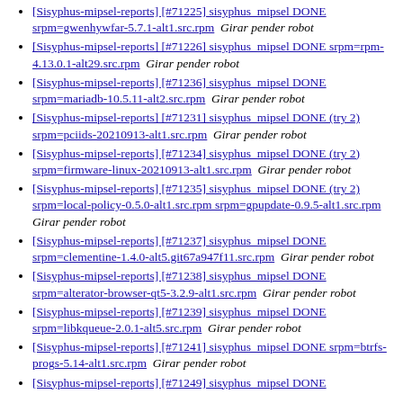[Sisyphus-mipsel-reports] [#71225] sisyphus_mipsel DONE srpm=gwenhywfar-5.7.1-alt1.src.rpm  Girar pender robot
[Sisyphus-mipsel-reports] [#71226] sisyphus_mipsel DONE srpm=rpm-4.13.0.1-alt29.src.rpm  Girar pender robot
[Sisyphus-mipsel-reports] [#71236] sisyphus_mipsel DONE srpm=mariadb-10.5.11-alt2.src.rpm  Girar pender robot
[Sisyphus-mipsel-reports] [#71231] sisyphus_mipsel DONE (try 2) srpm=pciids-20210913-alt1.src.rpm  Girar pender robot
[Sisyphus-mipsel-reports] [#71234] sisyphus_mipsel DONE (try 2) srpm=firmware-linux-20210913-alt1.src.rpm  Girar pender robot
[Sisyphus-mipsel-reports] [#71235] sisyphus_mipsel DONE (try 2) srpm=local-policy-0.5.0-alt1.src.rpm srpm=gpupdate-0.9.5-alt1.src.rpm  Girar pender robot
[Sisyphus-mipsel-reports] [#71237] sisyphus_mipsel DONE srpm=clementine-1.4.0-alt5.git67a947f11.src.rpm  Girar pender robot
[Sisyphus-mipsel-reports] [#71238] sisyphus_mipsel DONE srpm=alterator-browser-qt5-3.2.9-alt1.src.rpm  Girar pender robot
[Sisyphus-mipsel-reports] [#71239] sisyphus_mipsel DONE srpm=libkqueue-2.0.1-alt5.src.rpm  Girar pender robot
[Sisyphus-mipsel-reports] [#71241] sisyphus_mipsel DONE srpm=btrfs-progs-5.14-alt1.src.rpm  Girar pender robot
[Sisyphus-mipsel-reports] [#71249] sisyphus_mipsel DONE ...